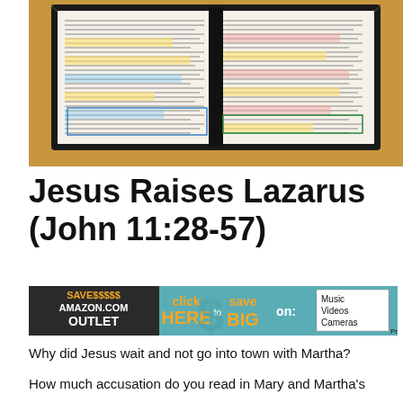[Figure (photo): An open Bible with highlighted and annotated text, lying on a wooden table surface. The Bible is open to a spread showing two columns of text with colored highlights and margin notes.]
Jesus Raises Lazarus (John 11:28-57)
[Figure (screenshot): Amazon.com Outlet advertisement banner: SAVE$$$$$ AMAZON.COM OUTLET click HERE to save BIG on: Music Videos Cameras]
Why did Jesus wait and not go into town with Martha?
How much accusation do you read in Mary and Martha's statement "Lord, if you had been here, our brother would have